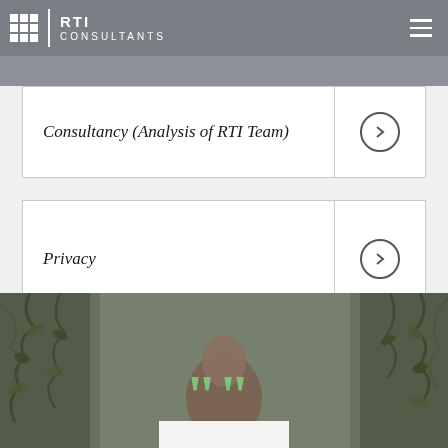RTI CONSULTANTS
Consultancy (Analysis of RTI Team)
Privacy
[Figure (photo): Background photo of a person with ivy/vine plants hanging on a white wall, with large green decorative quotation marks overlaid at the bottom center]